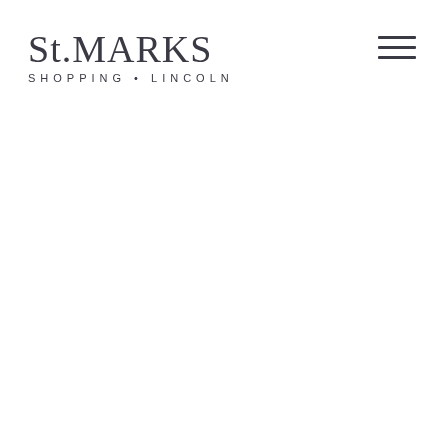[Figure (logo): St.MARKS Shopping Lincoln logo — large serif text 'St.MARKS' with smaller spaced sans-serif text 'SHOPPING • LINCOLN' below]
[Figure (other): Hamburger menu icon — three horizontal dark lines stacked vertically, positioned in top-right corner]